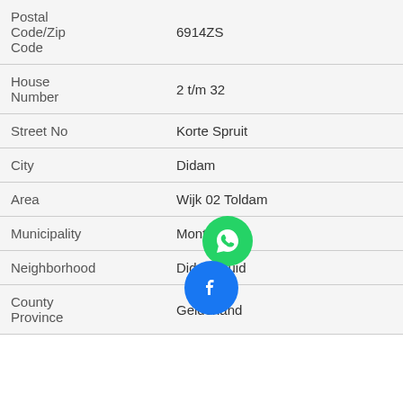| Field | Value |
| --- | --- |
| Postal Code/Zip Code | 6914ZS |
| House Number | 2 t/m 32 |
| Street No | Korte Spruit |
| City | Didam |
| Area | Wijk 02 Toldam |
| Municipality | Montferland |
| Neighborhood | Didam-Zuid |
| County Province | Gelderland |
[Figure (illustration): WhatsApp and Facebook social media share icons overlaid on the table]